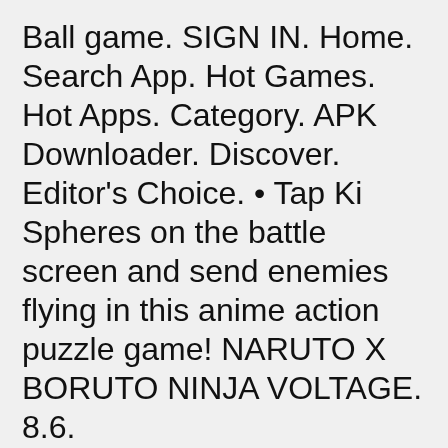Ball game. SIGN IN. Home. Search App. Hot Games. Hot Apps. Category. APK Downloader. Discover. Editor's Choice. • Tap Ki Spheres on the battle screen and send enemies flying in this anime action puzzle game! NARUTO X BORUTO NINJA VOLTAGE. 8.6.
Download 666666666666 by 3D Futuristic Games APK latest version 1.1 for android devices. You are about to download WAR Witches Battle 1.2 Latest APK for Android, WAR Witches Battleghost Invasionfree Gravity Flying App Full Game Pocket Edition2015Think chess is a stra. Download Stickman Battle Simulator - Stickman Warriors APK latest version 1.5 -